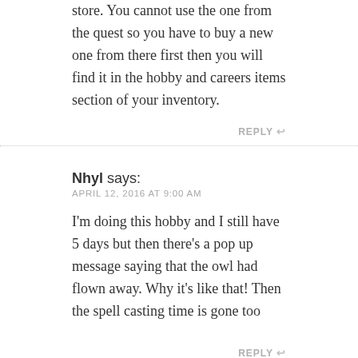store. You cannot use the one from the quest so you have to buy a new one from there first then you will find it in the hobby and careers items section of your inventory.
REPLY ↩
Nhyl says: APRIL 12, 2016 AT 9:00 AM
I'm doing this hobby and I still have 5 days but then there's a pop up message saying that the owl had flown away. Why it's like that! Then the spell casting time is gone too
REPLY ↩